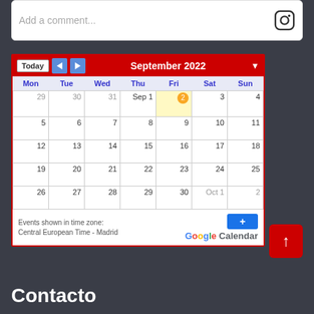[Figure (screenshot): Comment input box with placeholder text 'Add a comment...' and Instagram icon on the right]
[Figure (screenshot): Google Calendar widget showing September 2022, with today highlighted as Friday September 2nd, navigation buttons (Today, back, forward), days Mon-Sun, and footer showing Central European Time - Madrid timezone]
[Figure (other): Red scroll-to-top button with upward arrow]
Contacto